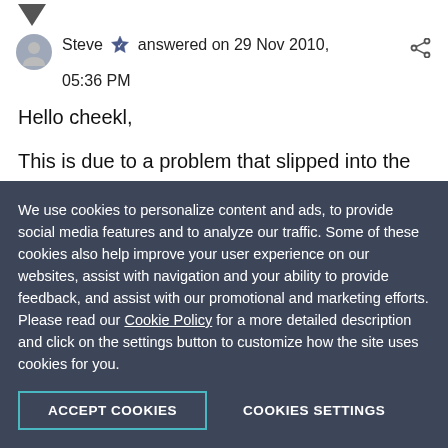[Figure (other): Down arrow icon at top of page]
Steve answered on 29 Nov 2010, 05:36 PM
Hello cheekl,
This is due to a problem that slipped into the Q3 release and has been immediately fixed in an internal build available for download from your account. Please download the internal build, upgrade and let us know if
We use cookies to personalize content and ads, to provide social media features and to analyze our traffic. Some of these cookies also help improve your user experience on our websites, assist with navigation and your ability to provide feedback, and assist with our promotional and marketing efforts. Please read our Cookie Policy for a more detailed description and click on the settings button to customize how the site uses cookies for you.
ACCEPT COOKIES
COOKIES SETTINGS